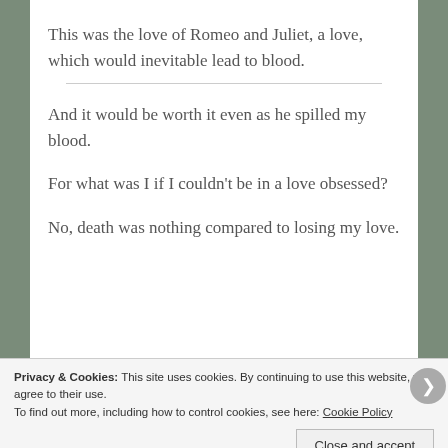This was the love of Romeo and Juliet, a love, which would inevitable lead to blood.
And it would be worth it even as he spilled my blood.
For what was I if I couldn't be in a love obsessed?
No, death was nothing compared to losing my love.
Privacy & Cookies: This site uses cookies. By continuing to use this website, you agree to their use.
To find out more, including how to control cookies, see here: Cookie Policy
Close and accept
email with more privacy.